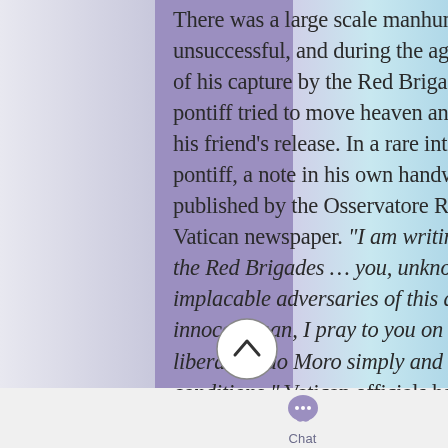There was a large scale manhunt, which was unsuccessful, and during the agonizing 55 days of his capture by the Red Brigades, the aging pontiff tried to move heaven and earth to secure his friend's release. In a rare intervention by a pontiff, a note in his own handwriting was published by the Osservatore Romano, the Vatican newspaper. "I am writing to you, men of the Red Brigades … you, unknown and implacable adversaries of this deserving and innocent man, I pray to you on my knees, liberate Aldo Moro simply and without any conditions." Vatican officials had asked prison chaplains to contact the leadership of the Red
[Figure (other): Circular scroll-to-top button with an upward chevron arrow icon]
[Figure (other): Chat bubble icon above the word Chat in a bottom navigation bar]